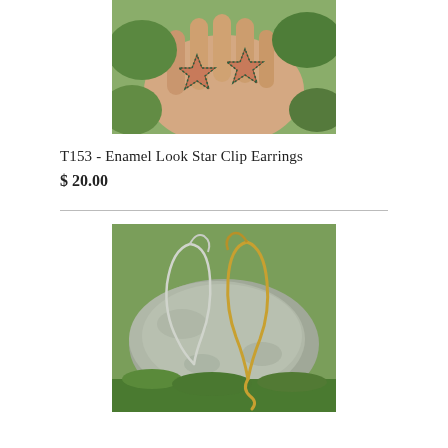[Figure (photo): A hand holding two star-shaped enamel look clip earrings with green and pink/copper coloring, photographed outdoors with green foliage in background.]
T153 - Enamel Look Star Clip Earrings
$ 20.00
[Figure (photo): Two gold-toned hook earrings with a wavy/twisted metal design, displayed on a grey stone rock outdoors with grass and foliage in background.]